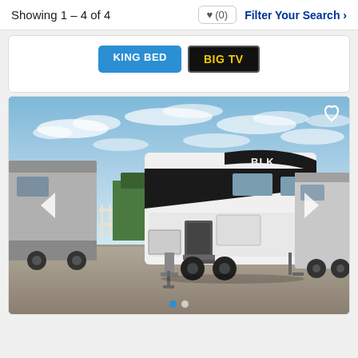Showing 1 – 4 of 4
♥ (0)
Filter Your Search ›
[Figure (other): Two feature badges: 'KING BED' in white text on blue background, and 'BIG TV' in yellow text on black background]
[Figure (photo): Exterior photo of a Blackwood fifth-wheel RV trailer parked in a lot alongside other RVs, blue sky with scattered clouds in background. Navigation arrows on left and right sides, heart icon in top-right corner, pagination dots at bottom with first dot active in blue.]